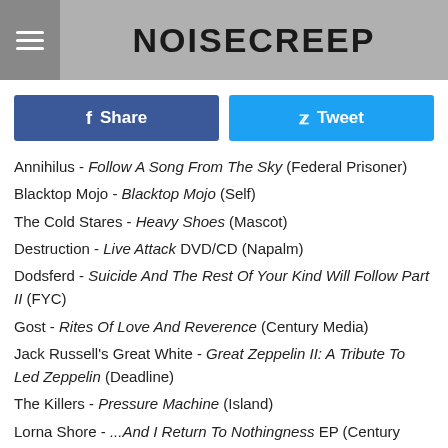NOISECREEP
Annihilus - Follow A Song From The Sky (Federal Prisoner)
Blacktop Mojo - Blacktop Mojo (Self)
The Cold Stares - Heavy Shoes (Mascot)
Destruction - Live Attack DVD/CD (Napalm)
Dodsferd - Suicide And The Rest Of Your Kind Will Follow Part II (FYC)
Gost - Rites Of Love And Reverence (Century Media)
Jack Russell's Great White - Great Zeppelin II: A Tribute To Led Zeppelin (Deadline)
The Killers - Pressure Machine (Island)
Lorna Shore - ...And I Return To Nothingness EP (Century Media)